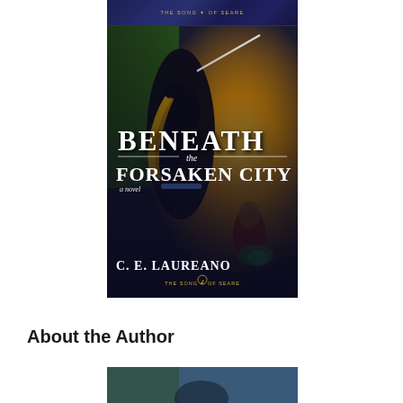[Figure (photo): Book cover of 'Beneath the Forsaken City' by C. E. Laureano. Shows a dark-cloaked figure with long hair holding a sword, with a golden glowing background and a second figure in red. Part of 'The Song of Seare' series. Top strip shows partial cover of another book in the series.]
About the Author
[Figure (photo): Partial view of another book cover or author photo at the bottom of the page, partially cut off.]